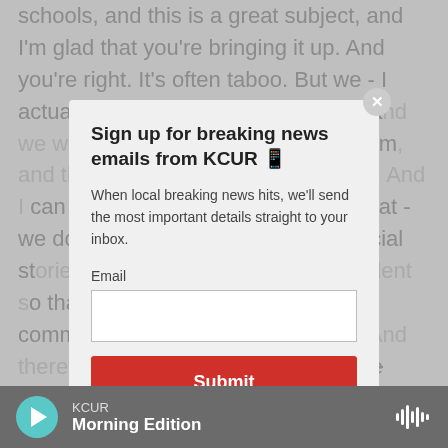schools, and this is a great subject, and I'm glad that you're bringing it up. And you're right. It's often taboo. But we - I actually co-run a social skills group, a ... on the spectrum ... es come up quite ... can tell somebody ... hat - we do social ... write social st... specific ... o that the stud... commun... other student... s a lot to kind of do that practice beforehand, and I will actually, you know, role play with the student or he'll
[Figure (screenshot): Modal popup: 'Sign up for breaking news emails from KCUR' with email input and Submit button over article background.]
KCUR
Morning Edition